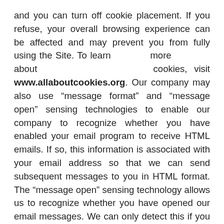and you can turn off cookie placement. If you refuse, your overall browsing experience can be affected and may prevent you from fully using the Site. To learn more about cookies, visit www.allaboutcookies.org. Our company may also use “message format” and “message open” sensing technologies to enable our company to recognize whether you have enabled your email program to receive HTML emails. If so, this information is associated with your email address so that we can send subsequent messages to you in HTML format. The “message open” sensing technology allows us to recognize whether you have opened our email messages. We can only detect this if you have enabled your email program to receive HTML emails.
For more of the above services on the Site,